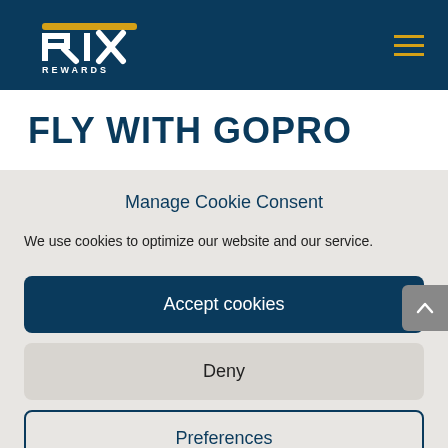[Figure (logo): RIX Rewards logo — white and yellow stylized letters on dark navy background, with 'REWARDS' text below]
FLY WITH GOPRO
Manage Cookie Consent
We use cookies to optimize our website and our service.
Accept cookies
Deny
Preferences